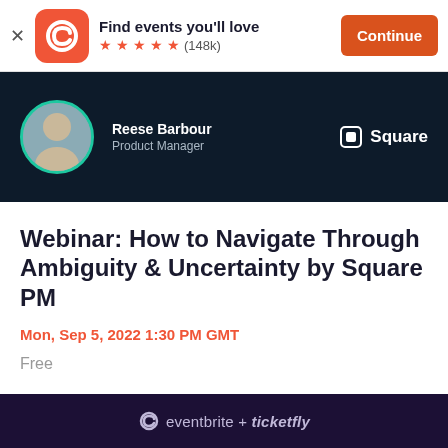[Figure (screenshot): Eventbrite app banner with orange logo, 'Find events you'll love', 5 orange stars, (148k) reviews, and an orange Continue button]
[Figure (photo): Dark navy header with circular avatar photo of Reese Barbour, his name and title 'Product Manager', and Square logo on the right]
Webinar: How to Navigate Through Ambiguity & Uncertainty by Square PM
Mon, Sep 5, 2022 1:30 PM GMT
Free
eventbrite + ticketfly